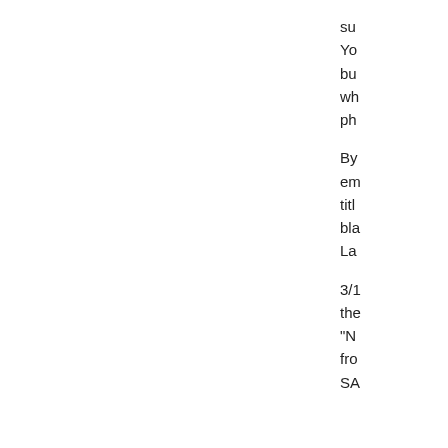su
Yo
bu
wh
ph

By
em
titl
bla
La

3/1
the
"N
fro
SA
Posted at 05:09 AM in Food and Drink | Permalink
Reblog (0)
Comments